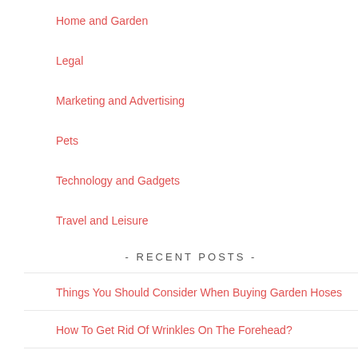Home and Garden
Legal
Marketing and Advertising
Pets
Technology and Gadgets
Travel and Leisure
- RECENT POSTS -
Things You Should Consider When Buying Garden Hoses
How To Get Rid Of Wrinkles On The Forehead?